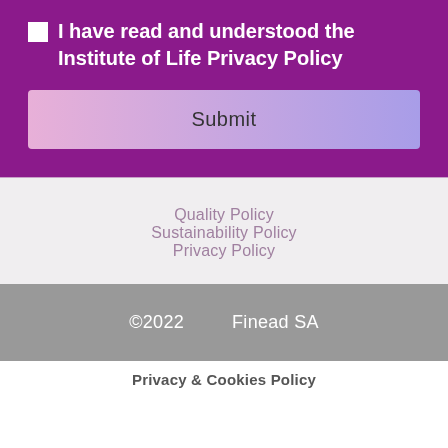I have read and understood the Institute of Life Privacy Policy
Submit
Quality Policy
Sustainability Policy
Privacy Policy
©2022   Finead SA
Privacy & Cookies Policy